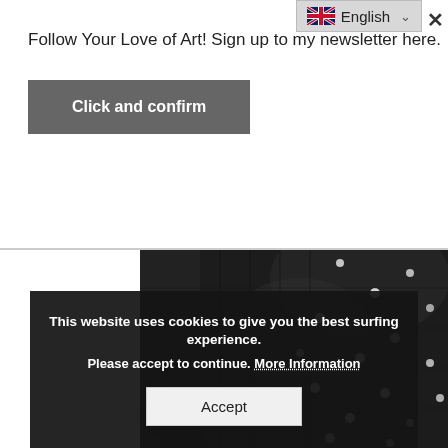Follow Your Love of Art! Sign up to my newsletter here.
Click and confirm
English
[Figure (photo): Close-up photograph of a black knitted/crocheted fabric with small white speckled details, shown on a dark background]
This website uses cookies to give you the best surfing experience. Please accept to continue. More Information Accept